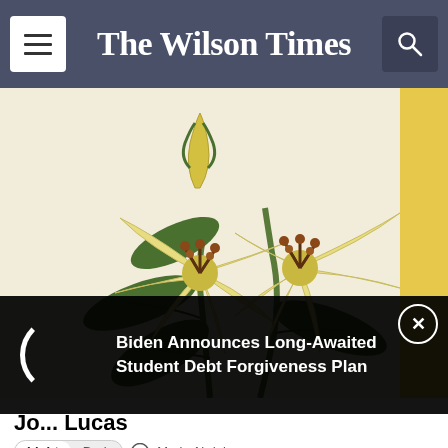The Wilson Times
[Figure (illustration): Yellow lily flowers illustration on a cream/beige background. Two open lily blooms with red-brown stamens, green leaves, and a closed bud.]
Biden Announces Long-Awaited Student Debt Forgiveness Plan
Jo... Lucas
Marie Airdale
August 22, 2022